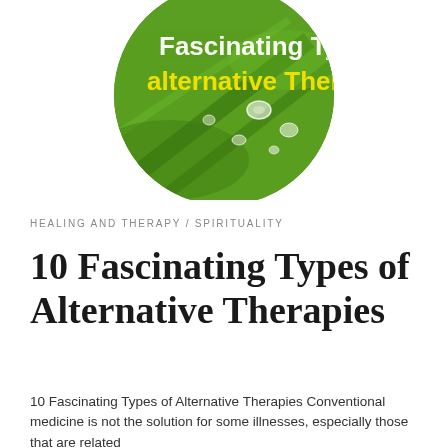[Figure (photo): Circular cropped photo of green leaf with water droplets. White bold text reads 'Fascinating Types of' and yellow bold text reads 'alternative Therapi' overlaid on the image.]
HEALING AND THERAPY / SPIRITUALITY
10 Fascinating Types of Alternative Therapies
10 Fascinating Types of Alternative Therapies Conventional medicine is not the solution for some illnesses, especially those that are related